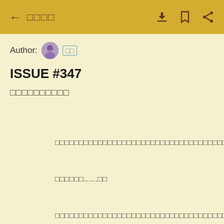← □□□□  [download] [bookmark] [share]
Author: [avatar] □□
ISSUE #347
□□□□□□□□□□
□□□□□□□□□□□□□□□□□□□□□□□□□□□□□□□□□□□□□□
□□□□□□□□□□□□□□□□□□□□□□□□□□□□□□□□□□□□□□□□□□□□
□□□□□□□□□□□□□□□□□□□□□□□□□□□□□□□□□□□□□□□□□□□□□□□□